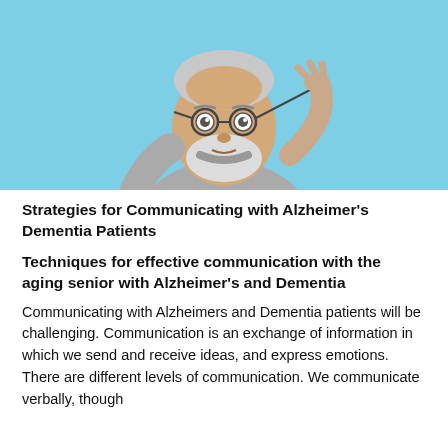[Figure (photo): An elderly man with a white beard and round glasses, wearing a grey sweater, holding his glasses with one hand against a light blue background, looking at the camera with a surprised expression.]
Strategies for Communicating with Alzheimer's Dementia Patients
Techniques for effective communication with the aging senior with Alzheimer's and Dementia
Communicating with Alzheimers and Dementia patients will be challenging. Communication is an exchange of information in which we send and receive ideas, and express emotions. There are different levels of communication. We communicate verbally, though